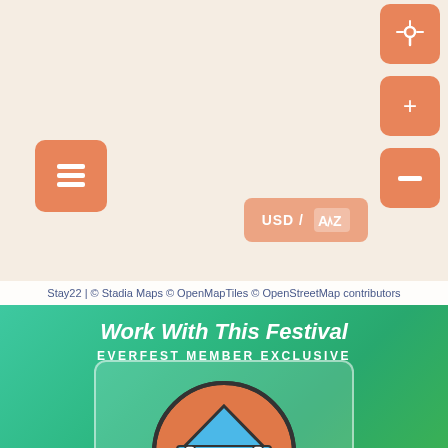[Figure (screenshot): Map interface section with beige/cream background showing map UI controls: a layers button (stacked squares icon) on the left, location pin button, zoom in (+) and zoom out (-) buttons on the right, and a USD/AZ currency toggle button in the center-right area.]
Stay22 | © Stadia Maps © OpenMapTiles © OpenStreetMap contributors
Work With This Festival
EVERFEST MEMBER EXCLUSIVE
[Figure (illustration): Vendor tent icon inside a circular orange background within a white-bordered card on a green gradient background. The tent has a blue canopy/roof and orange body with white support poles. Below the icon is the label 'Vendors' in white bold text.]